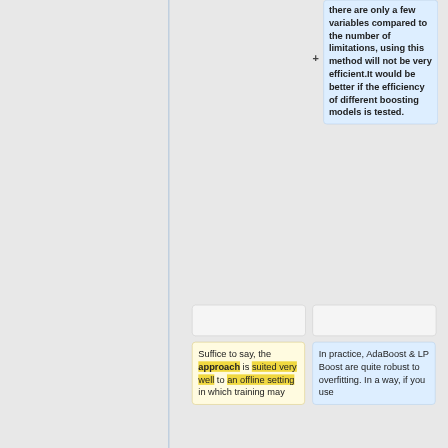there are only a few variables compared to the number of limitations, using this method will not be very efficient.It would be better if the efficiency of different boosting models is tested.
Suffice to say, the approach is suited very well to an offline setting in which training may
In practice, AdaBoost & LP Boost are quite robust to overfitting. In a way, if you use